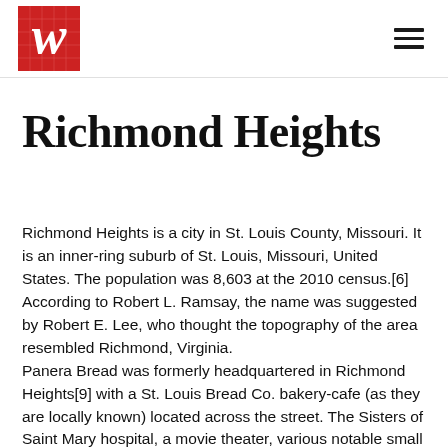W logo / hamburger menu
Richmond Heights
Richmond Heights is a city in St. Louis County, Missouri. It is an inner-ring suburb of St. Louis, Missouri, United States. The population was 8,603 at the 2010 census.[6] According to Robert L. Ramsay, the name was suggested by Robert E. Lee, who thought the topography of the area resembled Richmond, Virginia.
Panera Bread was formerly headquartered in Richmond Heights[9] with a St. Louis Bread Co. bakery-cafe (as they are locally known) located across the street. The Sisters of Saint Mary hospital, a movie theater, various notable small businesses, specialty shops, and franchised business locations. The Saint Louis Galleria is a prominent shopping mall in the area, and a